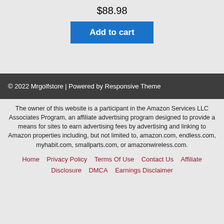$88.98
Add to cart
© 2022 Mrgolfstore | Powered by Responsive Theme
The owner of this website is a participant in the Amazon Services LLC Associates Program, an affiliate advertising program designed to provide a means for sites to earn advertising fees by advertising and linking to Amazon properties including, but not limited to, amazon.com, endless.com, myhabit.com, smallparts.com, or amazonwireless.com.
Home | Privacy Policy | Terms Of Use | Contact Us | Affiliate | Disclosure | DMCA | Earnings Disclaimer